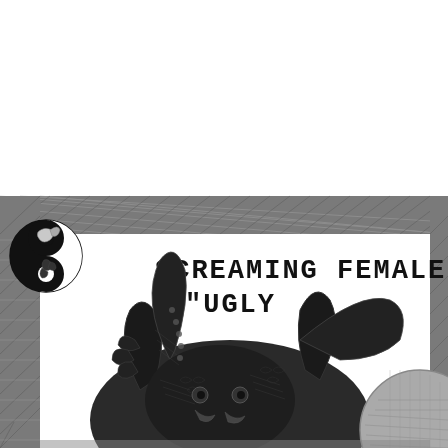[Figure (illustration): Top portion of a music poster or album cover crop. Shows a decorative hatched/crosshatch border frame in dark grey/black at top and left edges. A yin-yang style circular medallion with a bird/serpent motif is in the upper-left corner of the frame. The main interior shows a large detailed illustration of a dark demonic/monster creature with horns, claws, and tentacles in black ink engraving style. Partial text visible: 'SCREAMING FEMALE' on first line and '"UGLY' on second line in bold hand-lettered uppercase font.]